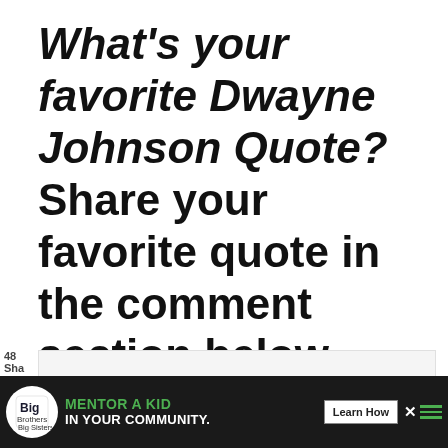What's your favorite Dwayne Johnson Quote? Share your favorite quote in the comment section below
[Figure (screenshot): Empty comment input form area with light gray background and border, with reCAPTCHA widget visible in the bottom right corner showing the reCAPTCHA logo and 'Privacy - Terms' text]
[Figure (screenshot): Advertisement banner at the bottom: Big Brothers Big Sisters logo, green text 'MENTOR A KID IN YOUR COMMUNITY.' with 'Learn How' button]